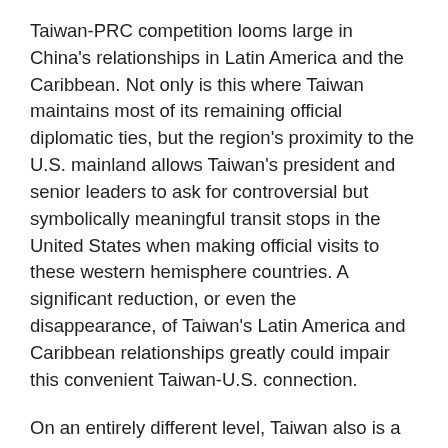Taiwan-PRC competition looms large in China's relationships in Latin America and the Caribbean. Not only is this where Taiwan maintains most of its remaining official diplomatic ties, but the region's proximity to the U.S. mainland allows Taiwan's president and senior leaders to ask for controversial but symbolically meaningful transit stops in the United States when making official visits to these western hemisphere countries. A  significant reduction, or even the disappearance, of Taiwan's Latin America and Caribbean relationships greatly could impair this convenient Taiwan-U.S. connection.
On an entirely different level, Taiwan also is a potentially important factor in China's activities with U.S. allies in Asia—Japan and Australia, especially, but also Korea and the Philippines. While all of these countries recognize the PRC and not Taiwan, as U.S. allies they potentially could become a factor in any U.S.-China conflict over Taiwan. In 2005, for instance, the United States and Japan declared for the first time that Taiwan is a mutual security concern,